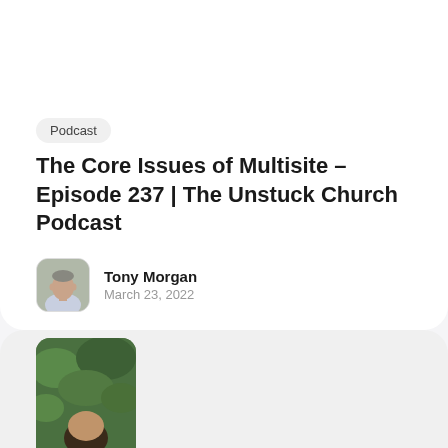Podcast
The Core Issues of Multisite – Episode 237 | The Unstuck Church Podcast
Tony Morgan
March 23, 2022
[Figure (photo): Circular/rounded avatar photo of Tony Morgan, a man in a light-colored shirt, against an outdoor background]
[Figure (photo): Partially visible photo at bottom of page showing a person against a green leafy background]